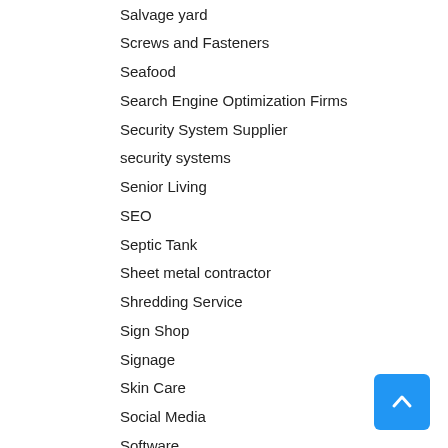Salvage yard
Screws and Fasteners
Seafood
Search Engine Optimization Firms
Security System Supplier
security systems
Senior Living
SEO
Septic Tank
Sheet metal contractor
Shredding Service
Sign Shop
Signage
Skin Care
Social Media
Software
Software Company